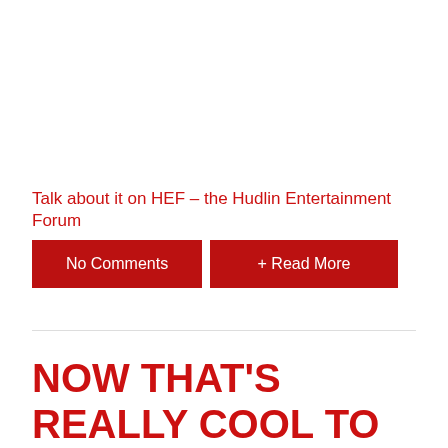Talk about it on HEF – the Hudlin Entertainment Forum
No Comments
+ Read More
NOW THAT'S REALLY COOL TO MY SON!